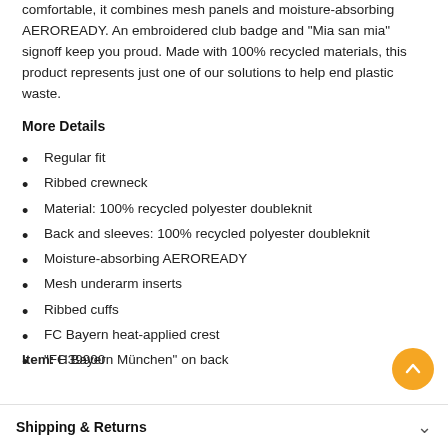comfortable, it combines mesh panels and moisture-absorbing AEROREADY. An embroidered club badge and "Mia san mia" signoff keep you proud. Made with 100% recycled materials, this product represents just one of our solutions to help end plastic waste.
More Details
Regular fit
Ribbed crewneck
Material: 100% recycled polyester doubleknit
Back and sleeves: 100% recycled polyester doubleknit
Moisture-absorbing AEROREADY
Mesh underarm inserts
Ribbed cuffs
FC Bayern heat-applied crest
"FC Bayern München" on back
Item: H39900
Shipping & Returns